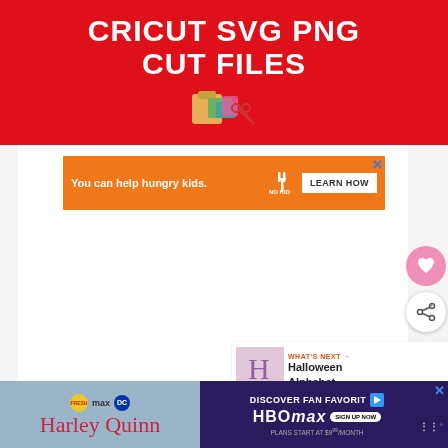[Figure (infographic): Red banner with white bold text reading CRICUT SVG PNG CUT FILES and a small craft/scissors icon below]
[Figure (infographic): Orange advertisement banner: You can help hungry kids. No Kid Hungry logo. LEARN HOW button. Blue X close button.]
[Figure (infographic): Pink circular heart/favorite button on the right side]
[Figure (infographic): White circular share button with share icon on the right side]
[Figure (infographic): WHAT'S NEXT panel showing Halloween Alphabet... with a thumbnail image]
[Figure (infographic): Bottom black bar with two ads: left side Harley Quinn HBO show ad on blue-gray background, right side Discover Fan Favorites HBOMAX ad on dark purple background with SIGN UP NOW button and PLANS START AT $9.99/MONTH text]